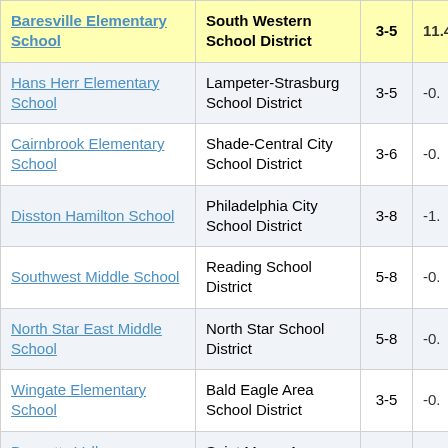| School | District | Grades | Value |
| --- | --- | --- | --- |
| Baresville Elementary School | South Western School District | 3-5 | 11.4... |
| Hans Herr Elementary School | Lampeter-Strasburg School District | 3-5 | -0.... |
| Cairnbrook Elementary School | Shade-Central City School District | 3-6 | -0.... |
| Disston Hamilton School | Philadelphia City School District | 3-8 | -1.... |
| Southwest Middle School | Reading School District | 5-8 | -0.... |
| North Star East Middle School | North Star School District | 5-8 | -0.... |
| Wingate Elementary School | Bald Eagle Area School District | 3-5 | -0.... |
| Bennetts Valley Elementary School | Saint Marys Area School District | 3-5 | -1.... |